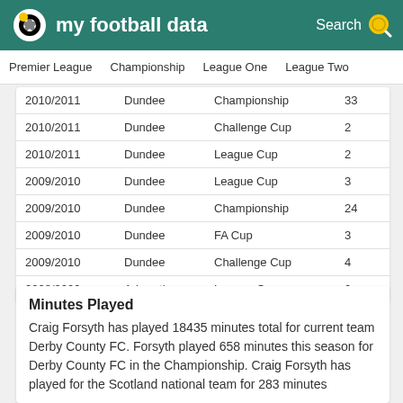my football data
Premier League   Championship   League One   League Two
| Season | Team | Competition | Apps |
| --- | --- | --- | --- |
| 2010/2011 | Dundee | Championship | 33 |
| 2010/2011 | Dundee | Challenge Cup | 2 |
| 2010/2011 | Dundee | League Cup | 2 |
| 2009/2010 | Dundee | League Cup | 3 |
| 2009/2010 | Dundee | Championship | 24 |
| 2009/2010 | Dundee | FA Cup | 3 |
| 2009/2010 | Dundee | Challenge Cup | 4 |
| 2008/2009 | Arbroath | League One | 0 |
Minutes Played
Craig Forsyth has played 18435 minutes total for current team Derby County FC. Forsyth played 658 minutes this season for Derby County FC in the Championship. Craig Forsyth has played for the Scotland national team for 283 minutes